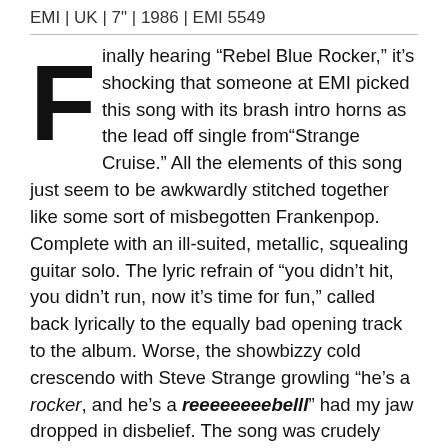EMI | UK | 7" | 1986 | EMI 5549
Finally hearing “Rebel Blue Rocker,” it’s shocking that someone at EMI picked this song with its brash intro horns as the lead off single from“Strange Cruise.” All the elements of this song just seem to be awkwardly stitched together like some sort of misbegotten Frankenpop. Complete with an ill-suited, metallic, squealing guitar solo. The lyric refrain of “you didn’t hit, you didn’t run, now it’s time for fun,” called back lyrically to the equally bad opening track to the album. Worse, the showbizzy cold crescendo with Steve Strange growling “he’s a rocker, and he’s a reeeeeeeebelll” had my jaw dropped in disbelief. The song was crudely constructed from awful parts that absolutely did not cohere in any way.